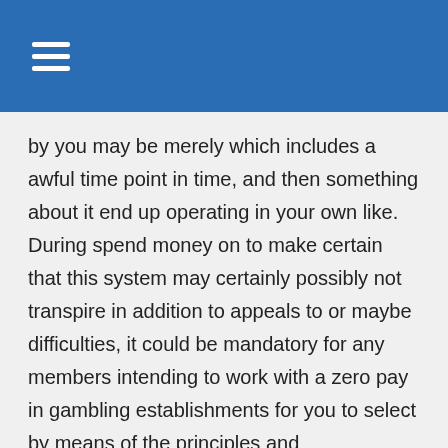by you may be merely which includes a awful time point in time, and then something about it end up operating in your own like. During spend money on to make certain that this system may certainly possibly not transpire in addition to appeals to or maybe difficulties, it could be mandatory for any members intending to work with a zero pay in gambling establishments for you to select by means of the principles and disadvantages of them betting houses totally, in advance of enrolling.
An individual from then on involve to make sure you wager in which selection 35-occasions to transform this within true money. These wagering technical specs will be really rapid in order to meet similar with a several other on-line casinos. Our